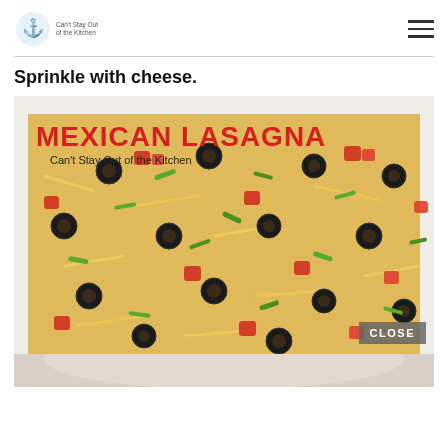Can't Stay Out of the Kitchen
Sprinkle with cheese.
[Figure (photo): Mexican Lasagna dish topped with shredded cheese, sliced black olives, chopped tomatoes, and green onions in a white baking dish. Title text 'MEXICAN LASAGNA' in red, subtitle 'Can't Stay Out of the Kitchen' below it. A 'CLOSE' button overlay in the bottom right.]
[Figure (photo): Partial view of a plate or serving dish at the bottom of the page.]